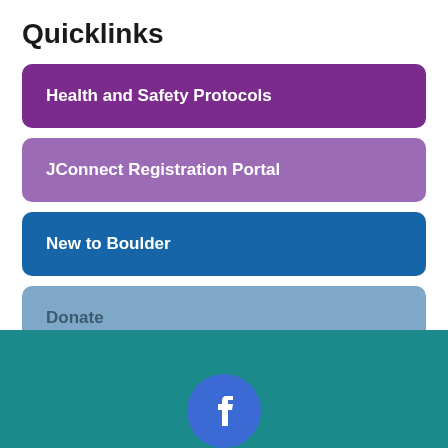Quicklinks
Health and Safety Protocols
JConnect Registration Portal
New to Boulder
Donate
Join Our Mailing List
[Figure (logo): Teal footer section with partial Facebook logo icon in blue]